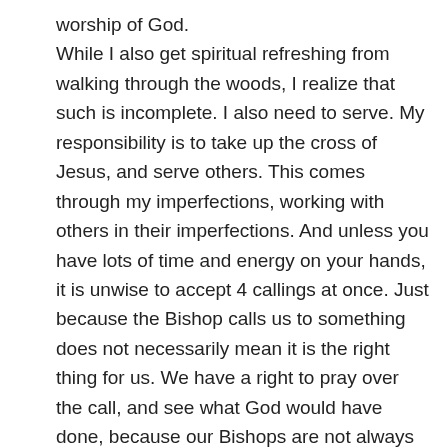worship of God. While I also get spiritual refreshing from walking through the woods, I realize that such is incomplete. I also need to serve. My responsibility is to take up the cross of Jesus, and serve others. This comes through my imperfections, working with others in their imperfections. And unless you have lots of time and energy on your hands, it is unwise to accept 4 callings at once. Just because the Bishop calls us to something does not necessarily mean it is the right thing for us. We have a right to pray over the call, and see what God would have done, because our Bishops are not always aware of what's going on in our lives. The key is, we are to be assisting in building up